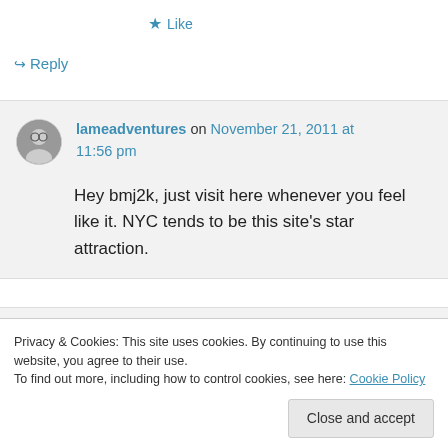★ Like
↪ Reply
lameadventures on November 21, 2011 at 11:56 pm
Hey bmj2k, just visit here whenever you feel like it. NYC tends to be this site's star attraction.
Privacy & Cookies: This site uses cookies. By continuing to use this website, you agree to their use.
To find out more, including how to control cookies, see here: Cookie Policy
Close and accept
at 4:10 pm